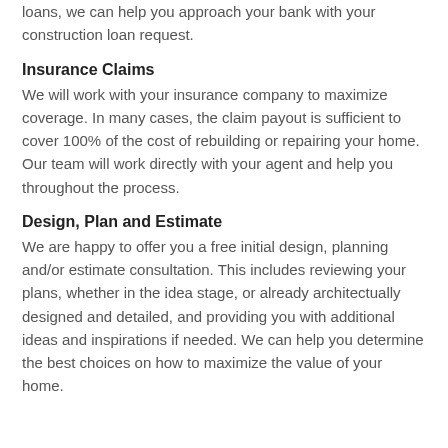loans, we can help you approach your bank with your construction loan request.
Insurance Claims
We will work with your insurance company to maximize coverage. In many cases, the claim payout is sufficient to cover 100% of the cost of rebuilding or repairing your home.  Our team will work directly with your agent and help you throughout the process.
Design, Plan and Estimate
We are happy to offer you a free initial design, planning and/or estimate consultation.  This includes reviewing your plans, whether in the idea stage, or already architectually designed and detailed, and providing you with additional ideas and inspirations if needed. We can help you determine the best choices on how to maximize the value of your home.